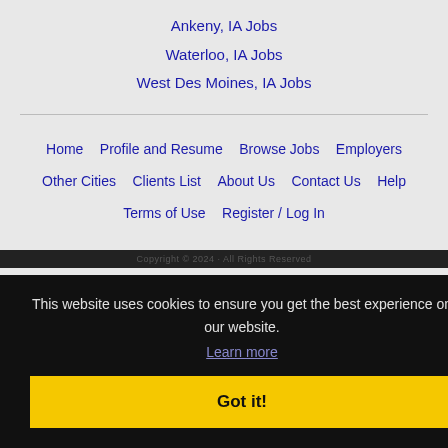Ankeny, IA Jobs
Waterloo, IA Jobs
West Des Moines, IA Jobs
Home
Profile and Resume
Browse Jobs
Employers
Other Cities
Clients List
About Us
Contact Us
Help
Terms of Use
Register / Log In
This website uses cookies to ensure you get the best experience on our website.
Learn more
Got it!